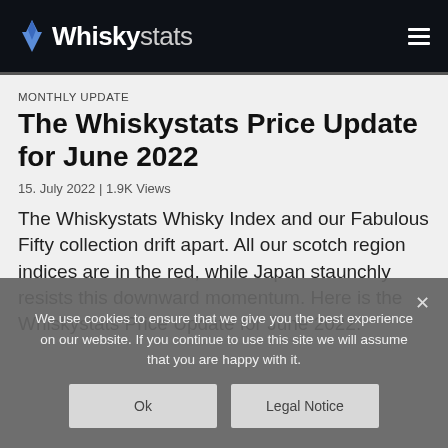Whiskystats
MONTHLY UPDATE
The Whiskystats Price Update for June 2022
15. July 2022 | 1.9K Views
The Whiskystats Whisky Index and our Fabulous Fifty collection drift apart. All our scotch region indices are in the red, while Japan staunchly resists this downward momentum. Here is the Whiskystats Price Update for June 2022.
We use cookies to ensure that we give you the best experience on our website. If you continue to use this site we will assume that you are happy with it.
Ok
Legal Notice